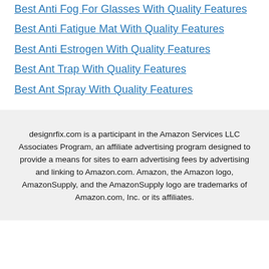Best Anti Fog For Glasses With Quality Features
Best Anti Fatigue Mat With Quality Features
Best Anti Estrogen With Quality Features
Best Ant Trap With Quality Features
Best Ant Spray With Quality Features
designrfix.com is a participant in the Amazon Services LLC Associates Program, an affiliate advertising program designed to provide a means for sites to earn advertising fees by advertising and linking to Amazon.com. Amazon, the Amazon logo, AmazonSupply, and the AmazonSupply logo are trademarks of Amazon.com, Inc. or its affiliates.